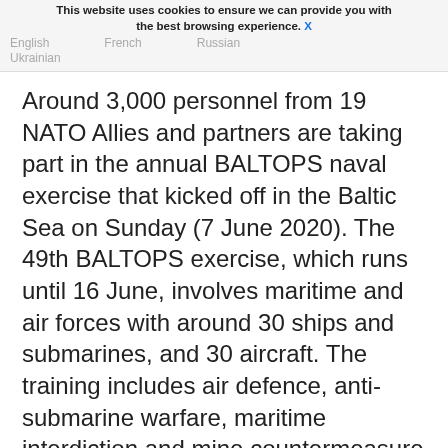This website uses cookies to ensure we can provide you with the best browsing experience. X
English    French    Russian
Ukrainian
Around 3,000 personnel from 19 NATO Allies and partners are taking part in the annual BALTOPS naval exercise that kicked off in the Baltic Sea on Sunday (7 June 2020). The 49th BALTOPS exercise, which runs until 16 June, involves maritime and air forces with around 30 ships and submarines, and 30 aircraft. The training includes air defence, anti-submarine warfare, maritime interdiction and mine countermeasure operations.
[Figure (photo): Gray placeholder image at bottom of page]